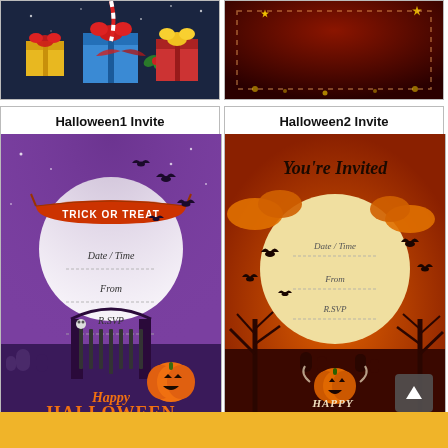[Figure (illustration): Top-left cropped image showing gifts/presents with red ribbons on a dark navy background]
[Figure (illustration): Top-right cropped image showing a red/dark invitation card with dashed border and sparkles]
Halloween1 Invite
[Figure (illustration): Halloween1 invite card: purple background with large white moon, bats, spooky cemetery gate, pumpkin, 'TRICK OR TREAT' banner, Date/Time, From, RSVP fields, 'Happy Halloween' text in orange]
Halloween2 Invite
[Figure (illustration): Halloween2 invite card: orange/dark red background, large moon, bats, dead trees, pumpkin, 'You're Invited' text, Date/Time, From, RSVP fields, 'Happy Halloween' text in white, scroll-up arrow icon]